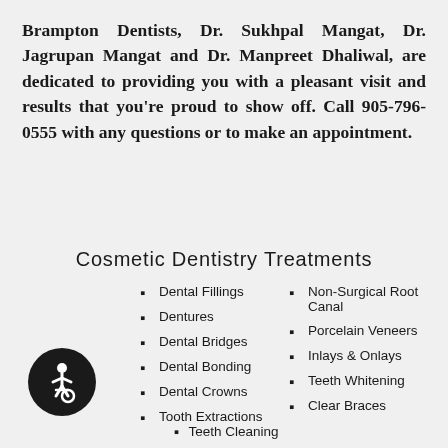Brampton Dentists, Dr. Sukhpal Mangat, Dr. Jagrupan Mangat and Dr. Manpreet Dhaliwal, are dedicated to providing you with a pleasant visit and results that you're proud to show off. Call 905-796-0555 with any questions or to make an appointment.
Cosmetic Dentistry Treatments
Dental Fillings
Dentures
Dental Bridges
Dental Bonding
Dental Crowns
Tooth Extractions
Non-Surgical Root Canal
Porcelain Veneers
Inlays & Onlays
Teeth Whitening
Clear Braces
Teeth Cleaning
[Figure (illustration): Accessibility icon — white wheelchair symbol on a dark circular background]